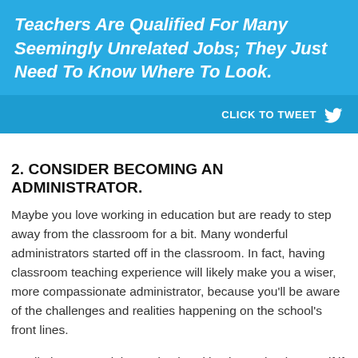Teachers Are Qualified For Many Seemingly Unrelated Jobs; They Just Need To Know Where To Look.
CLICK TO TWEET
2. CONSIDER BECOMING AN ADMINISTRATOR.
Maybe you love working in education but are ready to step away from the classroom for a bit. Many wonderful administrators started off in the classroom. In fact, having classroom teaching experience will likely make you a wiser, more compassionate administrator, because you'll be aware of the challenges and realities happening on the school's front lines.
You'll almost certainly need to head back to school yourself if you decide to make this change, especially if you're aimin...